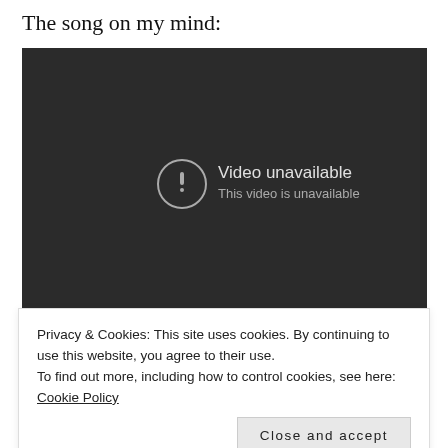The song on my mind:
[Figure (screenshot): Embedded YouTube video player showing 'Video unavailable – This video is unavailable' error message on a dark background.]
Privacy & Cookies: This site uses cookies. By continuing to use this website, you agree to their use.
To find out more, including how to control cookies, see here: Cookie Policy
Close and accept